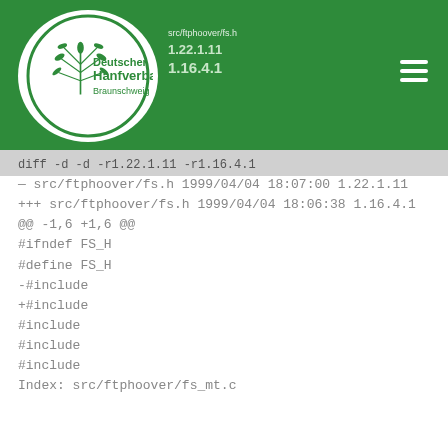[Figure (logo): Deutscher Hanfverband Braunschweig logo — circular green border with a stylized hemp leaf and text inside a white circle on a green header bar]
diff -d -d -r1.22.1.11 -r1.16.4.1
— src/ftphoover/fs.h 1999/04/04 18:07:00 1.22.1.11
+++ src/ftphoover/fs.h 1999/04/04 18:06:38 1.16.4.1
@@ -1,6 +1,6 @@
#ifndef FS_H
#define FS_H
-#include
+#include
#include
#include
#include
Index: src/ftphoover/fs_mt.c